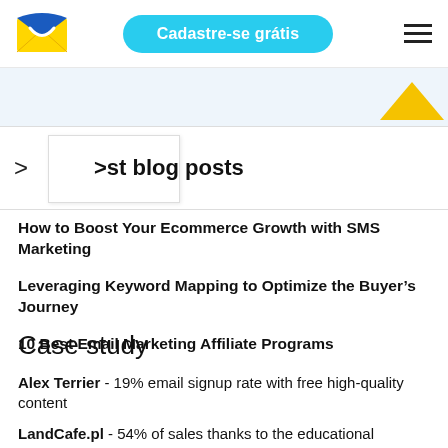[Figure (logo): Email marketing service logo: blue and yellow envelope icon]
Cadastre-se grátis
[Figure (other): Hamburger menu icon (three horizontal lines)]
[Figure (other): Golden/yellow upward chevron arrow in top-right corner]
> est blog posts
How to Boost Your Ecommerce Growth with SMS Marketing
Leveraging Keyword Mapping to Optimize the Buyer's Journey
10 Best Email Marketing Affiliate Programs
Case study
Alex Terrier - 19% email signup rate with free high-quality content
LandCafe.pl - 54% of sales thanks to the educational campaign